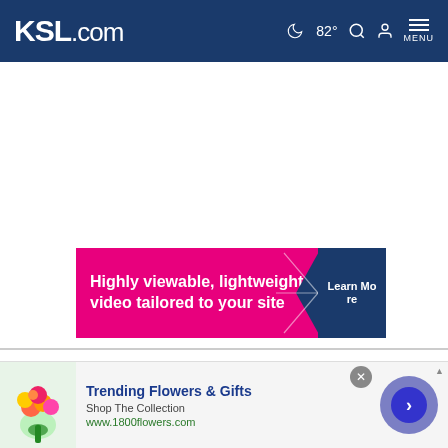KSL.com — 82° MENU
[Figure (other): Advertisement banner: pink background with text 'Highly viewable, lightweight video tailored to your site' with 'Learn Mo[re]' button]
Cookie Notice
We use cookies to improve your experience, analyze site traffic, and to personalize content and ads. By continuing to use our site, you consent to our use of cookies. Please visit our Terms of Use and Privacy Policy for more information
[Figure (other): Bottom advertisement: Trending Flowers & Gifts — Shop The Collection — www.1800flowers.com with flower bouquet image]